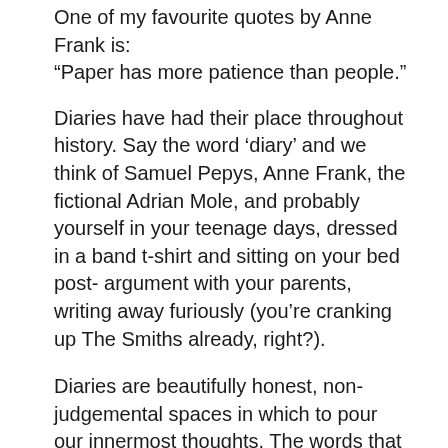One of my favourite quotes by Anne Frank is: “Paper has more patience than people.”
Diaries have had their place throughout history. Say the word ‘diary’ and we think of Samuel Pepys, Anne Frank, the fictional Adrian Mole, and probably yourself in your teenage days, dressed in a band t-shirt and sitting on your bed post-argument with your parents, writing away furiously (you’re cranking up The Smiths already, right?).
Diaries are beautifully honest, non-judgemental spaces in which to pour our innermost thoughts. The words that come out in diaries are the words that need to come out.
It’s why they’ve endured for so long; for both